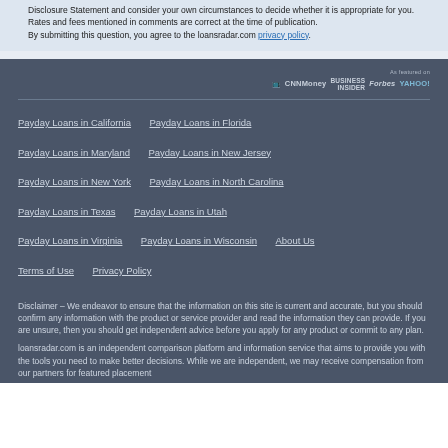Disclosure Statement and consider your own circumstances to decide whether it is appropriate for you.
Rates and fees mentioned in comments are correct at the time of publication.
By submitting this question, you agree to the loansradar.com privacy policy.
[Figure (logo): As featured on: CNBC CNNMoney Business Insider Forbes YAHOO! logos]
Payday Loans in California
Payday Loans in Florida
Payday Loans in Maryland
Payday Loans in New Jersey
Payday Loans in New York
Payday Loans in North Carolina
Payday Loans in Texas
Payday Loans in Utah
Payday Loans in Virginia
Payday Loans in Wisconsin
About Us
Terms of Use
Privacy Policy
Disclaimer – We endeavor to ensure that the information on this site is current and accurate, but you should confirm any information with the product or service provider and read the information they can provide. If you are unsure, then you should get independent advice before you apply for any product or commit to any plan.
loansradar.com is an independent comparison platform and information service that aims to provide you with the tools you need to make better decisions. While we are independent, we may receive compensation from our partners for featured placement